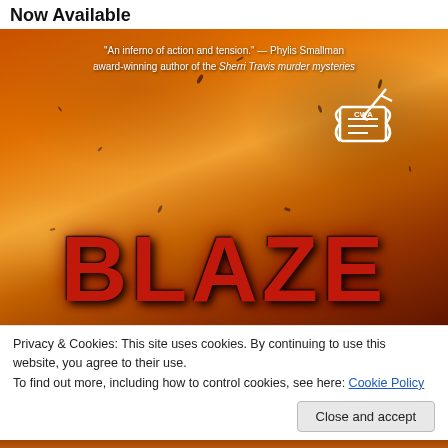Now Available
[Figure (illustration): Book cover for BLAZE showing fiery orange/red background with smoke and debris. Quote reads: "An inferno of action and tension." — Phylis Smallman award-winning author of the Sherri Travis murder mysteries. CWA logo in upper right. Large red block letters spelling BLAZE dominate the lower half.]
Privacy & Cookies: This site uses cookies. By continuing to use this website, you agree to their use.
To find out more, including how to control cookies, see here: Cookie Policy
Close and accept
[Figure (illustration): Bottom strip showing continuation of book cover with fiery orange background and partial silhouette of figure.]